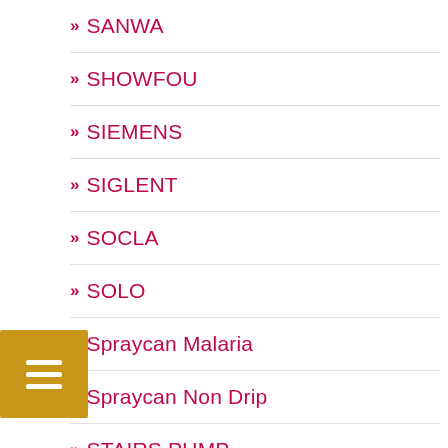SANWA
SHOWFOU
SIEMENS
SIGLENT
SOCLA
SOLO
Spraycan Malaria
Spraycan Non Drip
STAIRS PUMP
Standart Pump
STIHL